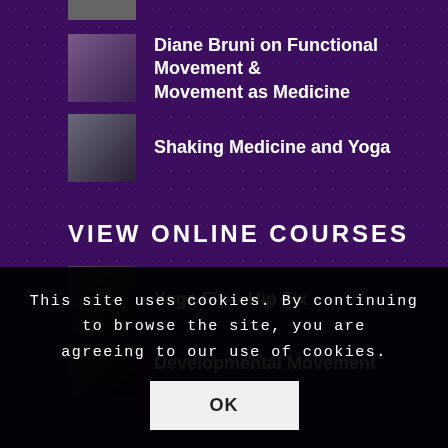[Figure (photo): Partial thumbnail image at top of page (cropped)]
Diane Bruni on Functional Movement & Movement as Medicine
Shaking Medicine and Yoga
VIEW ONLINE COURSES
Yoga Fix – Hip Fix
Developmental Movement
This site uses cookies. By continuing to browse the site, you are agreeing to our use of cookies.
OK